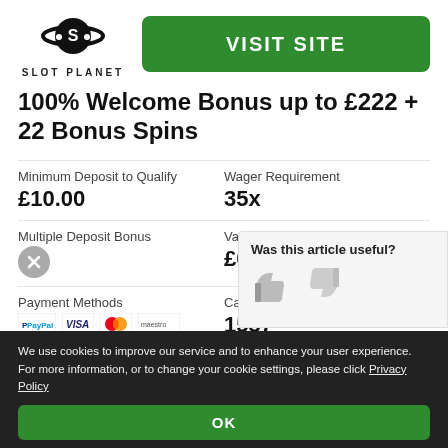[Figure (logo): Slot Planet logo with planet/ring icon and text SLOT PLANET]
VISIT SITE
100% Welcome Bonus up to £222 + 22 Bonus Spins
| Label | Value |
| --- | --- |
| Minimum Deposit to Qualify | £10.00 |
| Wager Requirement | 35x |
| Multiple Deposit Bonus | ✗ |
| Value per Bonus Spin | £0.10 |
| Payment Methods | PayPal, VISA, Mastercard, Maestro |
| Casino Games | 1537 |
| Mobile Games | 1350 |
| Live Games | 50 |
Was this article useful?
We use cookies to improve our service and to enhance your user experience. For more information, or to change your cookie settings, please click Privacy Policy
OK